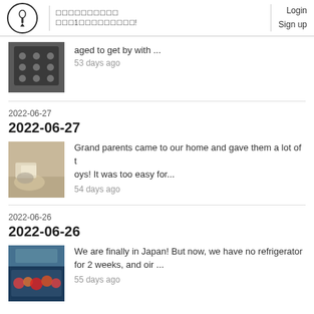Login Sign up
[Figure (photo): Thumbnail of a dark storage box with polka dots]
aged to get by with ...
53 days ago
2022-06-27
2022-06-27
[Figure (photo): Thumbnail of a child sitting on the floor with papers/toys]
Grand parents came to our home and gave them a lot of toys! It was too easy for...
54 days ago
2022-06-26
2022-06-26
[Figure (photo): Thumbnail of food display, colorful items in a case]
We are finally in Japan! But now, we have no refrigerator for 2 weeks, and oir ...
55 days ago